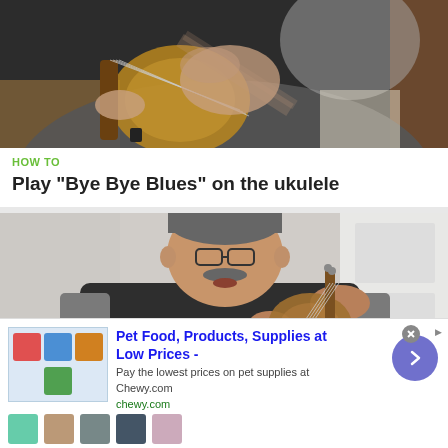[Figure (photo): Close-up photo of hands playing a ukulele, blurred motion of strumming hand, dark background]
HOW TO
Play "Bye Bye Blues" on the ukulele
[Figure (photo): Older man with mustache playing a ukulele, wearing dark sweater, gray background]
[Figure (infographic): Advertisement: Pet Food, Products, Supplies at Low Prices - Chewy.com. Pay the lowest prices on pet supplies at Chewy.com. chewy.com]